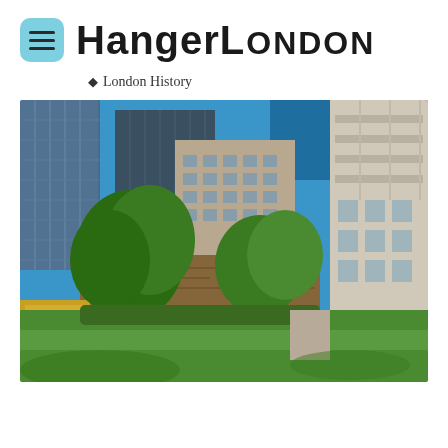HangerLondon
🏷 London History
[Figure (photo): Urban garden scene with ancient stone wall ruins surrounded by lush green trees and shrubs, with modern glass office buildings and a hotel visible in the background under a bright blue sky, photographed from a low angle.]